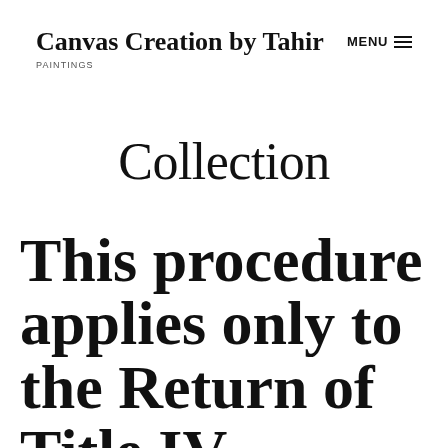Canvas Creation by Tahir PAINTINGS
Collection
This procedure applies only to the Return of Title IV requirements